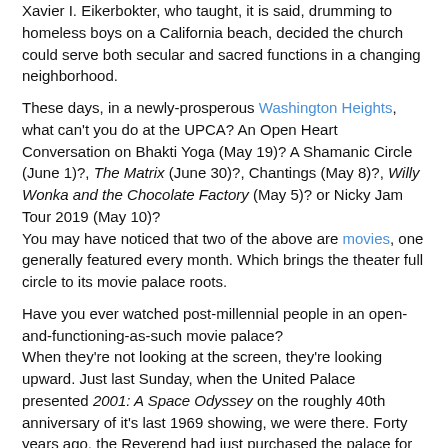Xavier I. Eikerbokter, who taught, it is said, drumming to homeless boys on a California beach, decided the church could serve both secular and sacred functions in a changing neighborhood.
These days, in a newly-prosperous Washington Heights, what can't you do at the UPCA? An Open Heart Conversation on Bhakti Yoga (May 19)? A Shamanic Circle (June 1)?, The Matrix (June 30)?, Chantings (May 8)?, Willy Wonka and the Chocolate Factory (May 5)? or Nicky Jam Tour 2019 (May 10)?
You may have noticed that two of the above are movies, one generally featured every month. Which brings the theater full circle to its movie palace roots.
Have you ever watched post-millennial people in an open-and-functioning-as-such movie palace?
When they're not looking at the screen, they're looking upward. Just last Sunday, when the United Palace presented 2001: A Space Odyssey on the roughly 40th anniversary of it's last 1969 showing, we were there. Forty years ago, the Reverend had just purchased the palace for half a million clams, and was looking towards the Easter Sunday opening of what would become his Palace Cathedral.